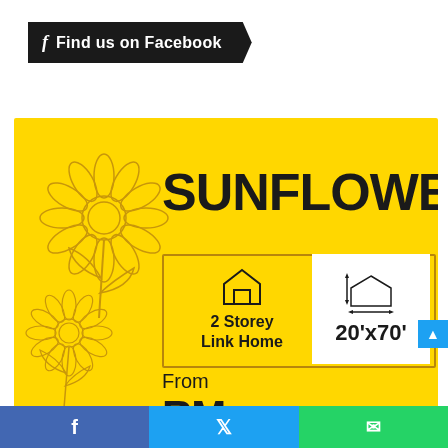[Figure (infographic): Facebook Find us on Facebook banner with dark background and parallelogram shape]
[Figure (infographic): Yellow promotional card for SUNFLOWER 2 Storey Link Home 20'x70' From RM price, with sunflower line illustration on left]
[Figure (infographic): Social share bar at bottom with Facebook, Twitter, WhatsApp icons]